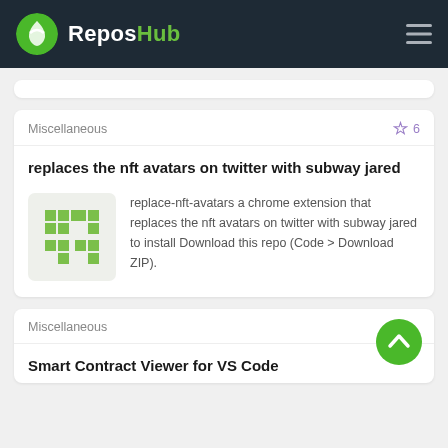ReposHub
Miscellaneous  ☆ 6
replaces the nft avatars on twitter with subway jared
[Figure (logo): Green pixel/block letter T T logo icon on light gray background]
replace-nft-avatars a chrome extension that replaces the nft avatars on twitter with subway jared to install Download this repo (Code > Download ZIP).
Miscellaneous
Smart Contract Viewer for VS Code